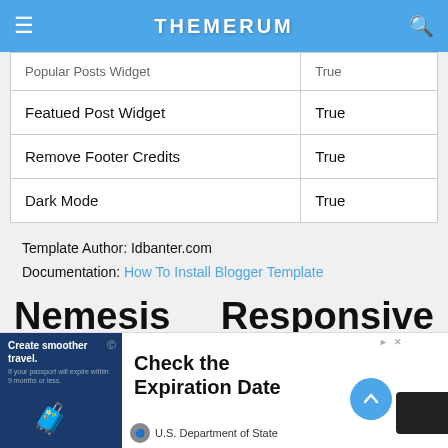THEMERUM
| Popular Posts Widget | True |
| Featued Post Widget | True |
| Remove Footer Credits | True |
| Dark Mode | True |
Template Author: Idbanter.com
Documentation: How To Install Blogger Template
Nemesis Blogger
Responsive Template